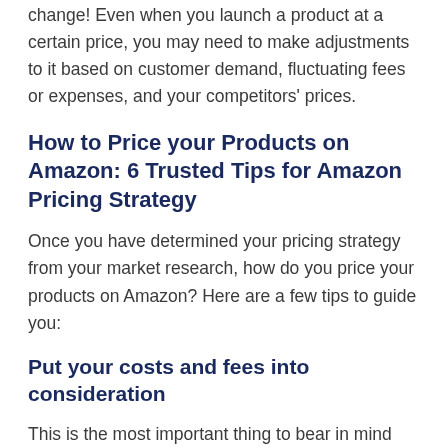change! Even when you launch a product at a certain price, you may need to make adjustments to it based on customer demand, fluctuating fees or expenses, and your competitors' prices.
How to Price your Products on Amazon: 6 Trusted Tips for Amazon Pricing Strategy
Once you have determined your pricing strategy from your market research, how do you price your products on Amazon? Here are a few tips to guide you:
Put your costs and fees into consideration
This is the most important thing to bear in mind